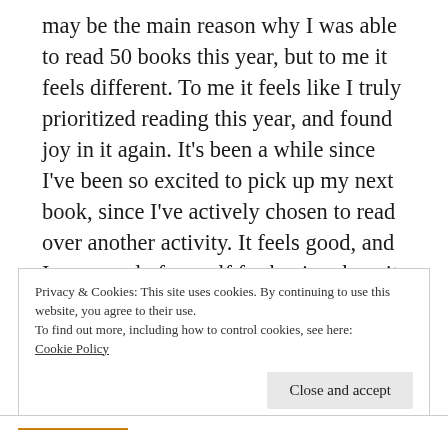may be the main reason why I was able to read 50 books this year, but to me it feels different. To me it feels like I truly prioritized reading this year, and found joy in it again. It's been a while since I've been so excited to pick up my next book, since I've actively chosen to read over another activity. It feels good, and I am proud of myself for having done it.
Privacy & Cookies: This site uses cookies. By continuing to use this website, you agree to their use.
To find out more, including how to control cookies, see here:
Cookie Policy
Close and accept